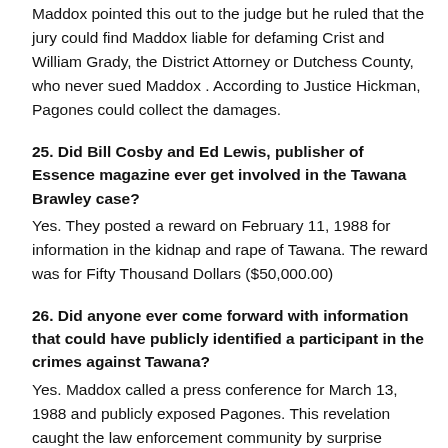Maddox pointed this out to the judge but he ruled that the jury could find Maddox liable for defaming Crist and William Grady, the District Attorney or Dutchess County, who never sued Maddox . According to Justice Hickman, Pagones could collect the damages.
25. Did Bill Cosby and Ed Lewis, publisher of Essence magazine ever get involved in the Tawana Brawley case?
Yes. They posted a reward on February 11, 1988 for information in the kidnap and rape of Tawana. The reward was for Fifty Thousand Dollars ($50,000.00)
26. Did anyone ever come forward with information that could have publicly identified a participant in the crimes against Tawana?
Yes. Maddox called a press conference for March 13, 1988 and publicly exposed Pagones. This revelation caught the law enforcement community by surprise because Pagones' status as a